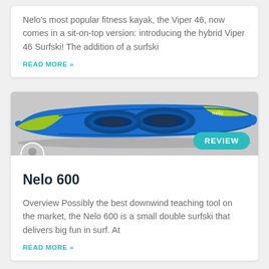Nelo's most popular fitness kayak, the Viper 46, now comes in a sit-on-top version: introducing the hybrid Viper 46 Surfski!   The addition of a surfski
READ MORE »
[Figure (photo): Top-down view of a blue and yellow-green Nelo 600 double surfski kayak with two cockpits, shown against a light grey background. A teal 'REVIEW' badge overlays the bottom-right corner.]
Nelo 600
Overview Possibly the best downwind teaching tool on the market, the Nelo 600 is a small double surfski that delivers big fun in surf. At
READ MORE »